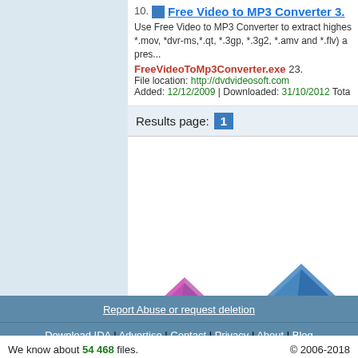10. Free Video to MP3 Converter 3... Use Free Video to MP3 Converter to extract highest *.mov, *dvr-ms,*.qt, *.3gp, *.3g2, *.amv and *.flv) a pres... FreeVideoToMp3Converter.exe 23. File location: http://dvdvideosoft.com Added: 12/12/2009 | Downloaded: 31/10/2012 Tota
Results page: 1
[Figure (illustration): Game advertisement tiles: 'Lost Grimoires: Stolen Kingdom' and 'Moai 5: New Generation. Collectors Edition' with purple and blue roof/hat logos]
Report Abuse or request deletion
Download IDA | Advertise | Contact | Privacy | About | Blog
We know about 54 468 files. New files today 7 661. © 2006-2018 WestByte Software